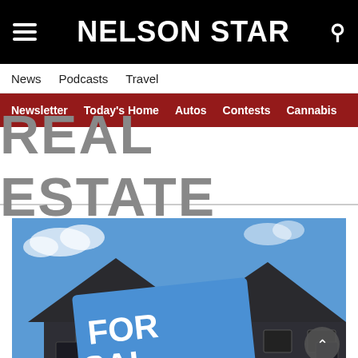NELSON STAR
News  Podcasts  Travel
Newsletter  Today's Home  Autos  Contests  Cannabis
REAL ESTATE
[Figure (photo): A 'For Sale' real estate sign in front of a dark brick house with two peaked rooflines against a blue sky with clouds.]